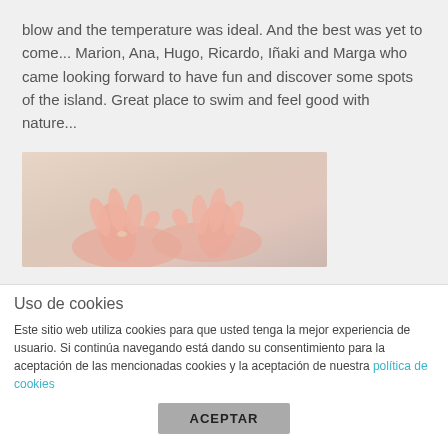blow and the temperature was ideal. And the best was yet to come... Marion, Ana, Hugo, Ricardo, Iñaki and Marga who came looking forward to have fun and discover some spots of the island. Great place to swim and feel good with nature...
[Figure (photo): Hands in a meditative yoga mudra pose, close-up, soft beige/neutral background]
Uso de cookies
Este sitio web utiliza cookies para que usted tenga la mejor experiencia de usuario. Si continúa navegando está dando su consentimiento para la aceptación de las mencionadas cookies y la aceptación de nuestra política de cookies